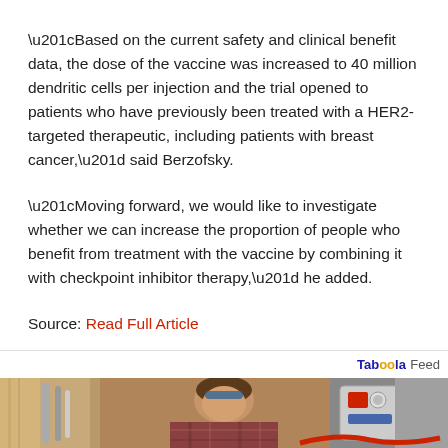“Based on the current safety and clinical benefit data, the dose of the vaccine was increased to 40 million dendritic cells per injection and the trial opened to patients who have previously been treated with a HER2-targeted therapeutic, including patients with breast cancer,” said Berzofsky.
“Moving forward, we would like to investigate whether we can increase the proportion of people who benefit from treatment with the vaccine by combining it with checkpoint inhibitor therapy,” he added.
Source: Read Full Article
[Figure (photo): A man in a plaid shirt working on industrial equipment, pipes and machinery visible in the background, Taboola Feed advertisement image]